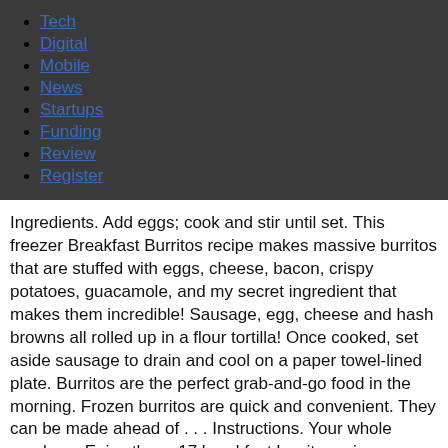Tech
Digital
Mobile
News
Startups
Funding
Review
Register
Ingredients. Add eggs; cook and stir until set. This freezer Breakfast Burritos recipe makes massive burritos that are stuffed with eggs, cheese, bacon, crispy potatoes, guacamole, and my secret ingredient that makes them incredible! Sausage, egg, cheese and hash browns all rolled up in a flour tortilla! Once cooked, set aside sausage to drain and cool on a paper towel-lined plate. Burritos are the perfect grab-and-go food in the morning. Frozen burritos are quick and convenient. They can be made ahead of . . . Instructions. Your whole meal, . . . Enjoy these 17 breakfast burrito recipes. These freezer breakfast burritos might be right in line with my Peanut Butter & Jelly Overnight Oats as being my favorite breakfasts to meal prep for the week. Just make a batch of burritos and